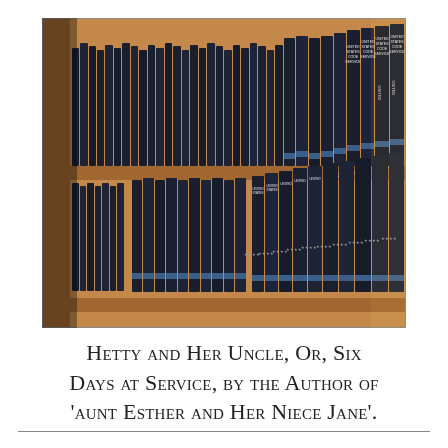[Figure (photo): Photograph of wooden library bookshelves filled with rows of dark navy blue legal volumes, specifically United States Code Service books, arranged spine-out on multiple shelves.]
Hetty and Her Uncle, Or, Six Days at Service, by the Author of 'Aunt Esther and Her Niece Jane'.